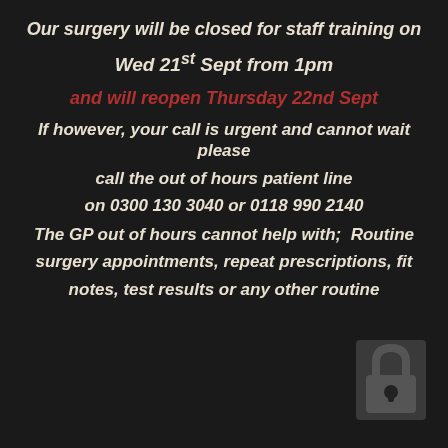Our surgery will be closed for staff training on
Wed 21st Sept from 1pm
and will reopen Thursday 22nd Sept
If however, your call is urgent and cannot wait please call the out of hours patient line on 0300 130 3040 or 0118 990 2140
The GP out of hours cannot help with;  Routine surgery appointments, repeat prescriptions, fit notes, test results or any other routine